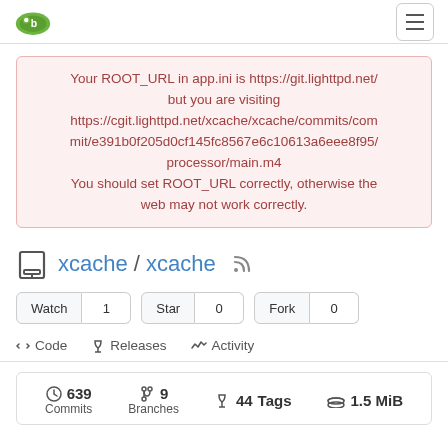Gitea logo and hamburger menu
Your ROOT_URL in app.ini is https://git.lighttpd.net/ but you are visiting https://cgit.lighttpd.net/xcache/xcache/commits/commit/e391b0f205d0cf145fc8567e6c10613a6eee8f95/processor/main.m4 You should set ROOT_URL correctly, otherwise the web may not work correctly.
xcache / xcache
Watch 1  Star 0  Fork 0
<> Code  Releases  Activity
639 Commits  9 Branches  44 Tags  1.5 MiB